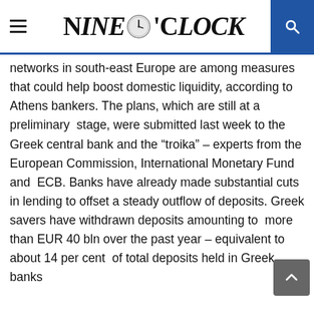Nine O'Clock
networks in south-east Europe are among measures that could help boost domestic liquidity, according to Athens bankers. The plans, which are still at a preliminary  stage, were submitted last week to the Greek central bank and the “troika” – experts from the European Commission, International Monetary Fund and  ECB. Banks have already made substantial cuts in lending to offset a steady outflow of deposits. Greek savers have withdrawn deposits amounting to  more than EUR 40 bln over the past year – equivalent to about 14 per cent  of total deposits held in Greek banks